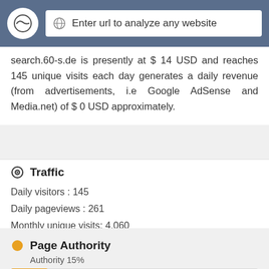Enter url to analyze any website
search.60-s.de is presently at $ 14 USD and reaches 145 unique visits each day generates a daily revenue (from advertisements, i.e Google AdSense and Media.net) of $ 0 USD approximately.
Traffic
Daily visitors : 145
Daily pageviews : 261
Monthly unique visits: 4,060
Page Authority
Authority 15%